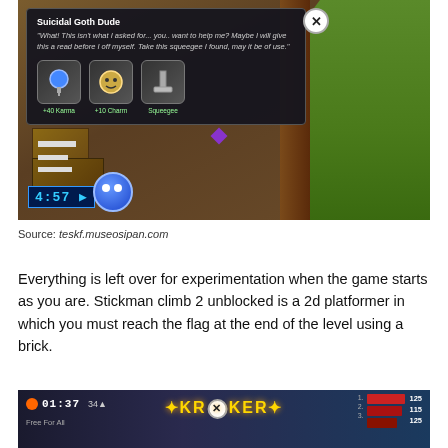[Figure (screenshot): Game screenshot showing a dialog box with 'Suicidal Goth Dude' character offering +40 Karma, +10 Charm, and a Squeegee. Game scene has brown boxes, green cliff, blue blob character, and a clock showing 4:57.]
Source: teskf.museosipan.com
Everything is left over for experimentation when the game starts as you are. Stickman climb 2 unblocked is a 2d platformer in which you must reach the flag at the end of the level using a brick.
[Figure (screenshot): Bottom portion of a Krunker game screenshot showing timer 01:37, '34' stat, Krunker logo, scoreboard with red bars, and scores 125, 115, 125. 'Free For All' label visible.]